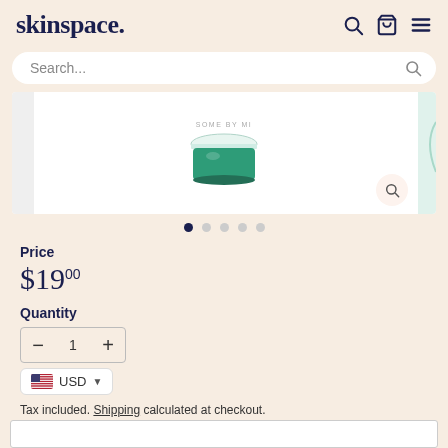skinspace.
Search...
[Figure (photo): Product image of a green jar labeled 'SOME BY MI' on a white background with a zoom magnifier button in the bottom right.]
Price
$19.00
Quantity
1
USD
Tax included. Shipping calculated at checkout.